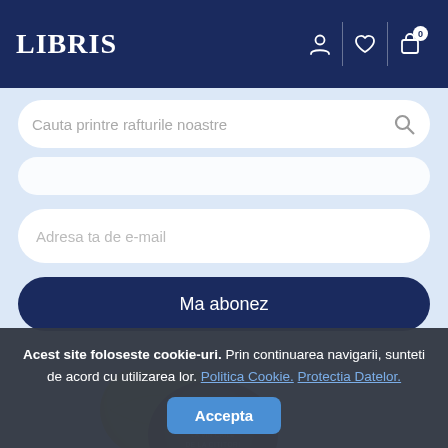[Figure (screenshot): Libris website navigation bar with logo, user icon, heart/wishlist icon, and cart icon with badge showing 0]
Cauta printre rafturile noastre
Adresa ta de e-mail
Ma abonez
[Figure (illustration): Partially visible circular book-related decorative elements (yellow and brown circles suggesting book covers or badges with text)]
Acest site foloseste cookie-uri. Prin continuarea navigarii, sunteti de acord cu utilizarea lor. Politica Cookie. Protectia Datelor.
Accepta